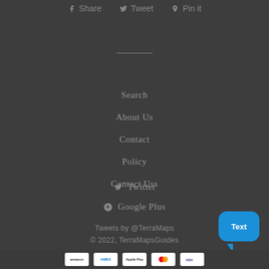Share  Tweet  Pin it
Search
About Us
Contact
Policy
Contact Uss
Twitter
Google Plus
Tweets by @TerraMaps
© 2022, TerraMapsGuides
Ecommerce Software by Shopify
Payment icons: Amazon, American Express, Apple Pay, ...